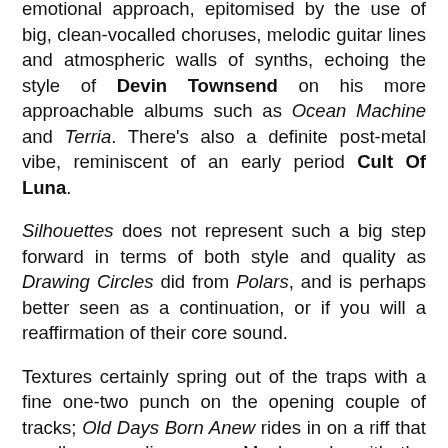emotional approach, epitomised by the use of big, clean-vocalled choruses, melodic guitar lines and atmospheric walls of synths, echoing the style of Devin Townsend on his more approachable albums such as Ocean Machine and Terria. There's also a definite post-metal vibe, reminiscent of an early period Cult Of Luna.
Silhouettes does not represent such a big step forward in terms of both style and quality as Drawing Circles did from Polars, and is perhaps better seen as a continuation, or if you will a reaffirmation of their core sound.
Textures certainly spring out of the traps with a fine one-two punch on the opening couple of tracks; Old Days Born Anew rides in on a riff that recalls an earlier, rawer Meshuggah, with the second guitar playing a jangling, haunting line that has hints of eighties Killing Joke. The tempo is cleverly slowed down without halting the track's momentum, and